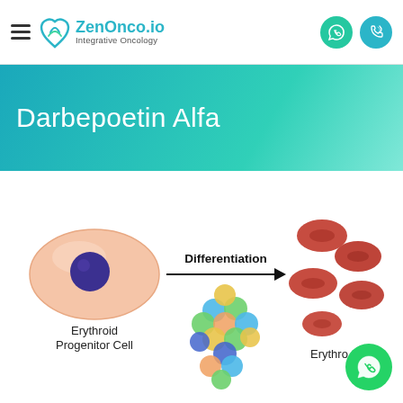ZenOnco.io — Integrative Oncology (navigation bar)
Darbepoetin Alfa
[Figure (illustration): Medical illustration showing erythroid progenitor cell (large salmon-colored oval cell with dark blue nucleus) with arrow labeled 'Differentiation' pointing to erythrocytes (red blood cells). Between them is a colorful molecular/cellular cluster (blue, green, yellow, pink spheres). Text labels: 'Erythroid Progenitor Cell' on left, 'Erythro[cytes]' partially visible on right.]